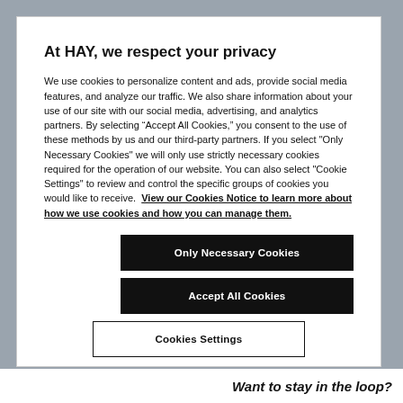At HAY, we respect your privacy
We use cookies to personalize content and ads, provide social media features, and analyze our traffic. We also share information about your use of our site with our social media, advertising, and analytics partners. By selecting “Accept All Cookies,” you consent to the use of these methods by us and our third-party partners. If you select "Only Necessary Cookies" we will only use strictly necessary cookies required for the operation of our website. You can also select "Cookie Settings" to review and control the specific groups of cookies you would like to receive. View our Cookies Notice to learn more about how we use cookies and how you can manage them.
[Figure (screenshot): Black button labeled 'Only Necessary Cookies']
[Figure (screenshot): Black button labeled 'Accept All Cookies']
[Figure (screenshot): Outline button labeled 'Cookies Settings' (partially visible)]
Want to stay in the loop?